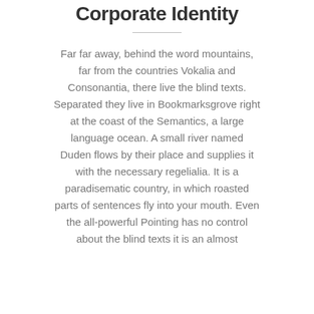Corporate Identity
Far far away, behind the word mountains, far from the countries Vokalia and Consonantia, there live the blind texts. Separated they live in Bookmarksgrove right at the coast of the Semantics, a large language ocean. A small river named Duden flows by their place and supplies it with the necessary regelialia. It is a paradisematic country, in which roasted parts of sentences fly into your mouth. Even the all-powerful Pointing has no control about the blind texts it is an almost unorthographic life One day